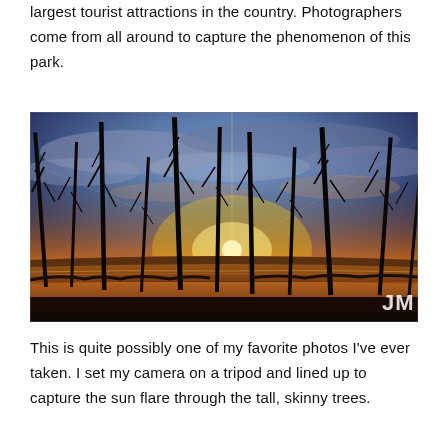largest tourist attractions in the country. Photographers come from all around to capture the phenomenon of this park.
[Figure (photo): Dramatic sunset landscape photo of dead/bare trees silhouetted against a vivid orange and golden sky, with a bright sun flare visible through the tall skinny tree trunks near a body of water. A 'JM' watermark is visible in the bottom right corner.]
This is quite possibly one of my favorite photos I've ever taken. I set my camera on a tripod and lined up to capture the sun flare through the tall, skinny trees.